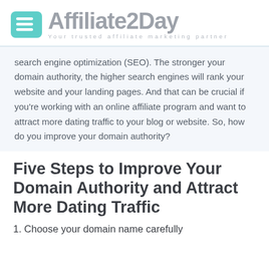Affiliate2Day — Your trusted affiliate marketing partner
search engine optimization (SEO). The stronger your domain authority, the higher search engines will rank your website and your landing pages. And that can be crucial if you're working with an online affiliate program and want to attract more dating traffic to your blog or website. So, how do you improve your domain authority?
Five Steps to Improve Your Domain Authority and Attract More Dating Traffic
1. Choose your domain name carefully